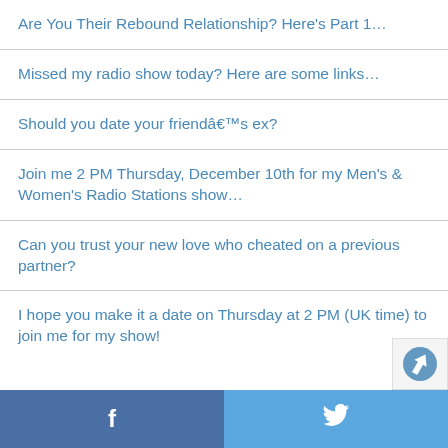Are You Their Rebound Relationship? Here's Part 1…
Missed my radio show today? Here are some links…
Should you date your friendâ€™s ex?
Join me 2 PM Thursday, December 10th for my Men's & Women's Radio Stations show…
Can you trust your new love who cheated on a previous partner?
I hope you make it a date on Thursday at 2 PM (UK time) to join me for my show!